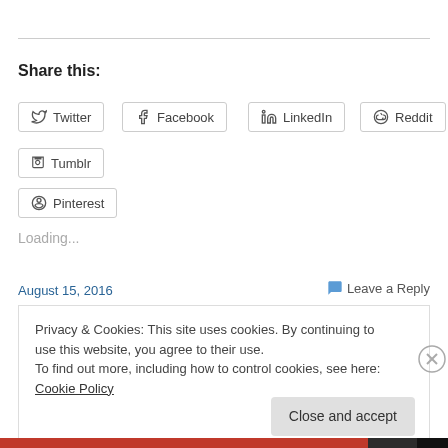Share this:
Twitter
Facebook
LinkedIn
Reddit
Tumblr
Pinterest
Loading...
August 15, 2016
Leave a Reply
Privacy & Cookies: This site uses cookies. By continuing to use this website, you agree to their use.
To find out more, including how to control cookies, see here: Cookie Policy
Close and accept